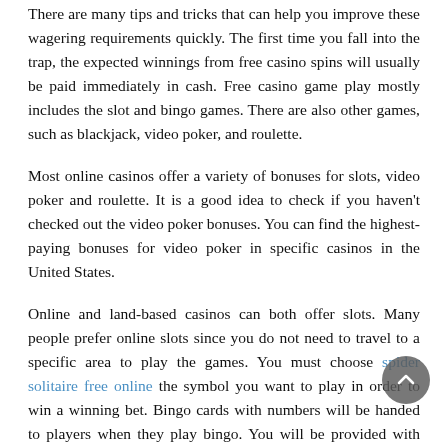There are many tips and tricks that can help you improve these wagering requirements quickly. The first time you fall into the trap, the expected winnings from free casino spins will usually be paid immediately in cash. Free casino game play mostly includes the slot and bingo games. There are also other games, such as blackjack, video poker, and roulette.
Most online casinos offer a variety of bonuses for slots, video poker and roulette. It is a good idea to check if you haven't checked out the video poker bonuses. You can find the highest-paying bonuses for video poker in specific casinos in the United States.
Online and land-based casinos can both offer slots. Many people prefer online slots since you do not need to travel to a specific area to play the games. You must choose spider solitaire free online the symbol you want to play in order to win a winning bet. Bingo cards with numbers will be handed to players when they play bingo. You will be provided with numbers on the bingo card. The aim is to have the highest winning card by beating the numbers.